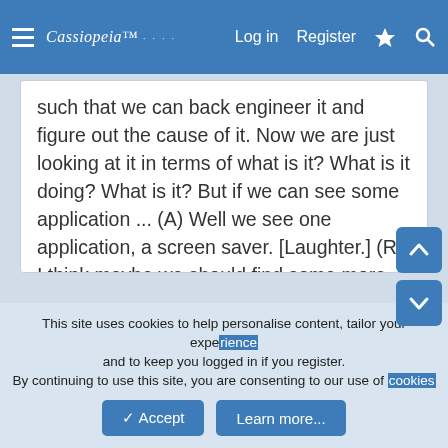Cassiopeia | Log in | Register
such that we can back engineer it and figure out the cause of it. Now we are just looking at it in terms of what is it? What is it doing? What is it? But if we can see some application ... (A) Well we see one application, a screen saver. [Laughter.] (R) I think maybe we should find some more interesting application, but it is a good principle to find an application of it because that's what can lead us back to what it is. (A) Yeah, that's true. Well, can you help us with what is the application, give us some direction?
Click to expand...
This site uses cookies to help personalise content, tailor your experience and to keep you logged in if you register. By continuing to use this site, you are consenting to our use of cookies.